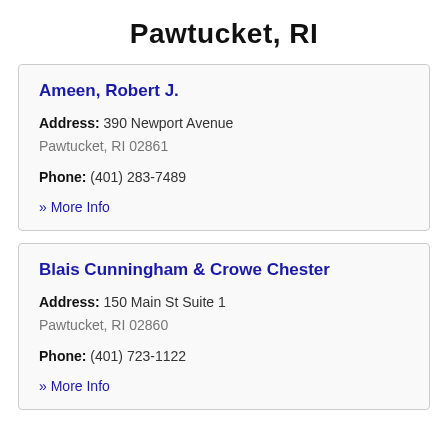Pawtucket, RI
Ameen, Robert J.
Address: 390 Newport Avenue
Pawtucket, RI 02861
Phone: (401) 283-7489
» More Info
Blais Cunningham & Crowe Chester
Address: 150 Main St Suite 1
Pawtucket, RI 02860
Phone: (401) 723-1122
» More Info